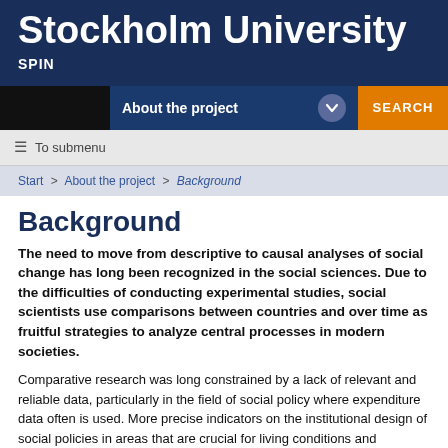Stockholm University
SPIN
[Figure (screenshot): Navigation bar with 'About the project' dropdown and SEARCH button]
≡  To submenu
Start > About the project > Background
Background
The need to move from descriptive to causal analyses of social change has long been recognized in the social sciences. Due to the difficulties of conducting experimental studies, social scientists use comparisons between countries and over time as fruitful strategies to analyze central processes in modern societies.
Comparative research was long constrained by a lack of relevant and reliable data, particularly in the field of social policy where expenditure data often is used. More precise indicators on the institutional design of social policies in areas that are crucial for living conditions and capabilities of citizens are, however, often required, a type of institutional information not easily extracted from official data